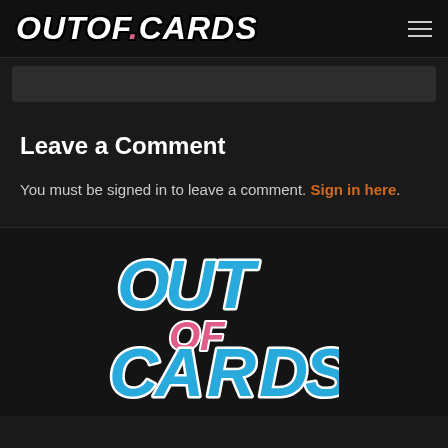OUTOF.CARDS
Leave a Comment
You must be signed in to leave a comment. Sign in here.
[Figure (logo): Out of Cards logo in colorful stylized text with blue and pink lettering]